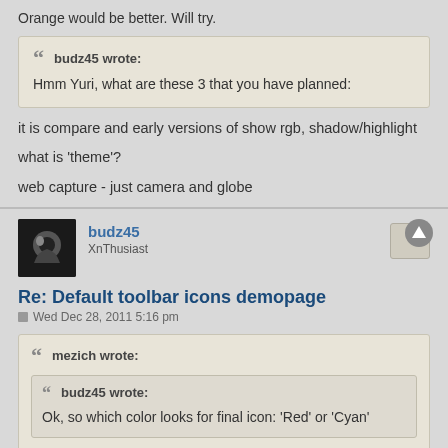Orange would be better. Will try.
budz45 wrote: Hmm Yuri, what are these 3 that you have planned:
it is compare and early versions of show rgb, shadow/highlight
what is 'theme'?
web capture - just camera and globe
budz45
XnThusiast
Re: Default toolbar icons demopage
Wed Dec 28, 2011 5:16 pm
mezich wrote: budz45 wrote: Ok, so which color looks for final icon: 'Red' or 'Cyan'
Orange would be better. Will try.